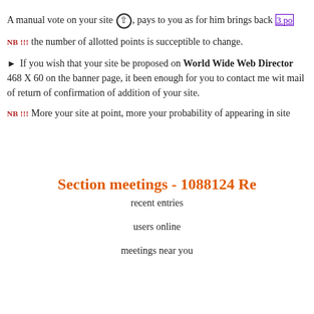A manual vote on your site ↑, pays to you as for him brings back 3 po
NB !!! the number of allotted points is succeptible to change.
▶ If you wish that your site be proposed on World Wide Web Directory 468 X 60 on the banner page, it been enough for you to contact me with mail of return of confirmation of addition of your site.
NB !!! More your site at point, more your probability of appearing in site
Section meetings - 1088124 Re
recent entries
users online
meetings near you